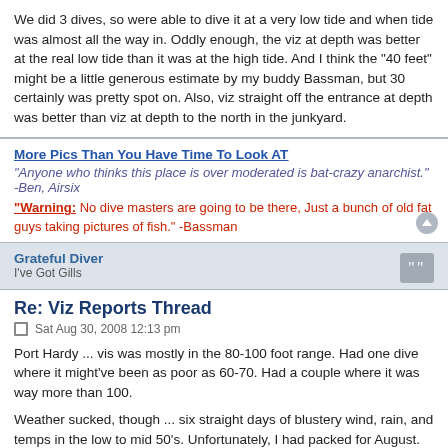We did 3 dives, so were able to dive it at a very low tide and when tide was almost all the way in. Oddly enough, the viz at depth was better at the real low tide than it was at the high tide. And I think the "40 feet" might be a little generous estimate by my buddy Bassman, but 30 certainly was pretty spot on. Also, viz straight off the entrance at depth was better than viz at depth to the north in the junkyard.
More Pics Than You Have Time To Look AT
"Anyone who thinks this place is over moderated is bat-crazy anarchist." -Ben, Airsix
"Warning: No dive masters are going to be there, Just a bunch of old fat guys taking pictures of fish." -Bassman
Grateful Diver
I've Got Gills
Re: Viz Reports Thread
Sat Aug 30, 2008 12:13 pm
Port Hardy ... vis was mostly in the 80-100 foot range. Had one dive where it might've been as poor as 60-70. Had a couple where it was way more than 100.
Weather sucked, though ... six straight days of blustery wind, rain, and temps in the low to mid 50's. Unfortunately, I had packed for August. Fortunately, spent most of the week in my drysuit.